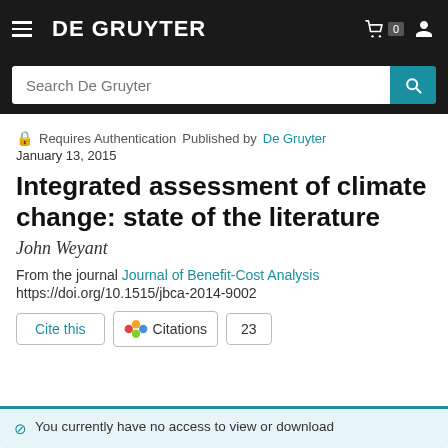DE GRUYTER
Search De Gruyter
🔒 Requires Authentication   Published by De Gruyter
January 13, 2015
Integrated assessment of climate change: state of the literature
John Weyant
From the journal Journal of Benefit-Cost Analysis
https://doi.org/10.1515/jbca-2014-9002
Cite this   Citations  23
🚫 You currently have no access to view or download